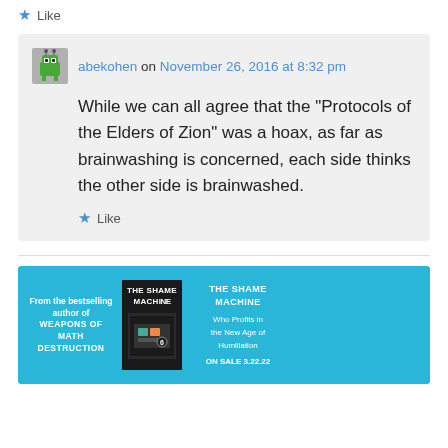Like
abekohen on November 26, 2016 at 8:32 pm
While we can all agree that the “Protocols of the Elders of Zion” was a hoax, as far as brainwashing is concerned, each side thinks the other side is brainwashed.
Like
[Figure (illustration): Advertisement banner for the book 'The Shame Machine' on a cyan/blue background, showing the book cover and text including 'From the bestselling author of WEAPONS OF MATH DESTRUCTION', 'THE SHAME MACHINE Who Profits in the New Age of Humiliation', 'ON SALE 3.22.22']